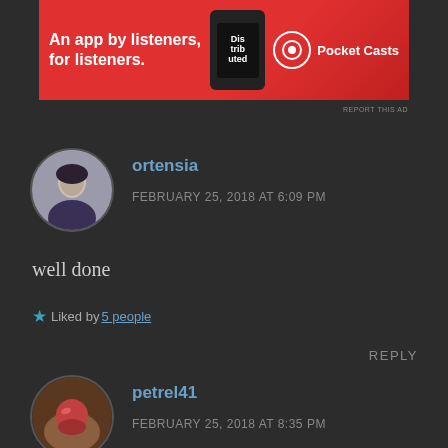[Figure (illustration): Pocket Casts advertisement banner: red background, white text 'An app by listeners, for listeners.' with phone graphic and Pocket Casts logo]
REPORT THIS AD
ortensia
FEBRUARY 25, 2018 AT 6:09 PM
well done
Liked by 5 people
REPLY
petrel41
FEBRUARY 25, 2018 AT 8:35 PM